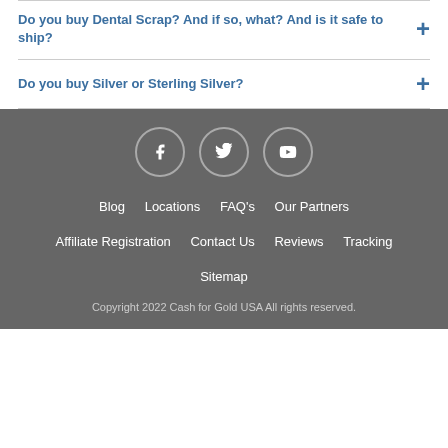Do you buy Dental Scrap? And if so, what? And is it safe to ship?
Do you buy Silver or Sterling Silver?
[Figure (infographic): Social media icons: Facebook, Twitter, YouTube in circles on dark grey footer background]
Blog   Locations   FAQ's   Our Partners   Affiliate Registration   Contact Us   Reviews   Tracking   Sitemap
Copyright 2022 Cash for Gold USA All rights reserved.